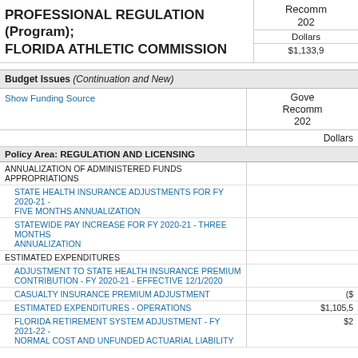PROFESSIONAL REGULATION (Program); FLORIDA ATHLETIC COMMISSION
|  | Recommended 2021-22 Dollars |
| --- | --- |
|  | $1,133,9... |
Budget Issues (Continuation and New)
| Show Funding Source | Governor's Recommended 2021-22 Dollars |
| --- | --- |
| Policy Area: REGULATION AND LICENSING |  |
| ANNUALIZATION OF ADMINISTERED FUNDS APPROPRIATIONS |  |
| STATE HEALTH INSURANCE ADJUSTMENTS FOR FY 2020-21 - FIVE MONTHS ANNUALIZATION |  |
| STATEWIDE PAY INCREASE FOR FY 2020-21 - THREE MONTHS ANNUALIZATION |  |
| ESTIMATED EXPENDITURES |  |
| ADJUSTMENT TO STATE HEALTH INSURANCE PREMIUM CONTRIBUTION - FY 2020-21 - EFFECTIVE 12/1/2020 |  |
| CASUALTY INSURANCE PREMIUM ADJUSTMENT | ($... |
| ESTIMATED EXPENDITURES - OPERATIONS | $1,105,5... |
| FLORIDA RETIREMENT SYSTEM ADJUSTMENT - FY 2021-22 - NORMAL COST AND UNFUNDED ACTUARIAL LIABILITY | $2... |